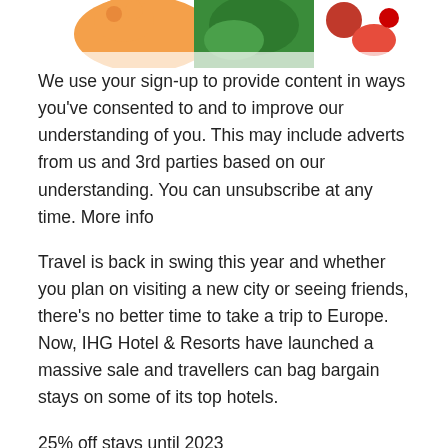[Figure (illustration): Partial view of colorful cartoon/illustration with orange, green, and red characters at the top of the page]
We use your sign-up to provide content in ways you've consented to and to improve our understanding of you. This may include adverts from us and 3rd parties based on our understanding. You can unsubscribe at any time. More info
Travel is back in swing this year and whether you plan on visiting a new city or seeing friends, there's no better time to take a trip to Europe. Now, IHG Hotel & Resorts have launched a massive sale and travellers can bag bargain stays on some of its top hotels.
25% off stays until 2023
IHG Hotels & Resorts is offering 25 percent off hotels in